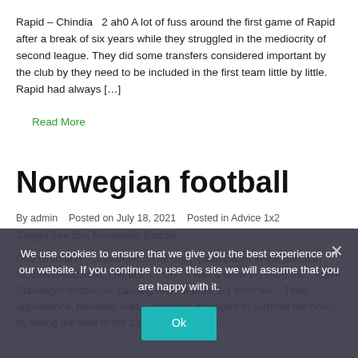Rapid – Chindia   2 ah0 A lot of fuss around the first game of Rapid after a break of six years while they struggled in the mediocrity of second league. They did some transfers considered important by the club by they need to be included in the first team little by little. Rapid had always […]
Read More
Norwegian football
By admin   Posted on July 18, 2021   Posted in Advice 1x2
Tagged free tips, Norwegian football
Odd Grenland – Stavanger... The team participated in the Europan football round time. The team... Odd it was a 1-1 from Vik... leave Stavanger Victorious, causing more a draw 1-1 from Vik... Their appearance, however, was... more but managed to surprise the hosts by taking the lead in the 13th minute. Stian...
We use cookies to ensure that we give you the best experience on our website. If you continue to use this site we will assume that you are happy with it.